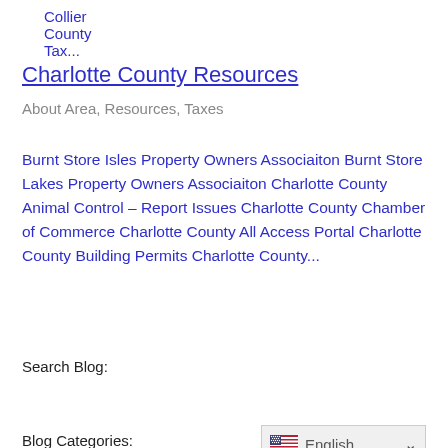Collier County Tax...
Charlotte County Resources
About Area, Resources, Taxes
Burnt Store Isles Property Owners Associaiton Burnt Store Lakes Property Owners Associaiton Charlotte County Animal Control – Report Issues Charlotte County Chamber of Commerce Charlotte County All Access Portal Charlotte County Building Permits Charlotte County...
« Older Entries
Search Blog:
Blog Categories:
English